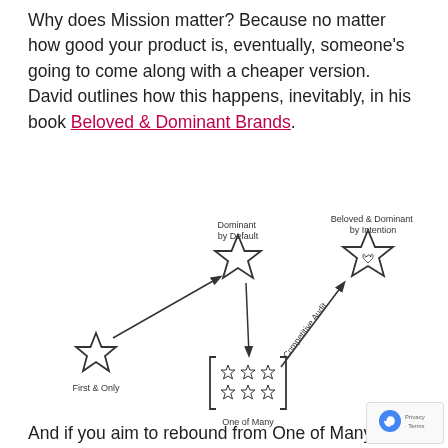Why does Mission matter? Because no matter how good your product is, eventually, someone's going to come along with a cheaper version. David outlines how this happens, inevitably, in his book Beloved & Dominant Brands.
[Figure (illustration): Diagram showing brand positions: 'First & Only' star on bottom-left with arrow up-right to 'Dominant by Default' star (top-center), then arrow down-right to 'One of Many' clustered stars (bottom-center), then arrow up-right (labeled 'Competitive Audit') to 'Beloved & Dominant by Intention' star with heart (top-right).]
And if you aim to rebound from One of Many to